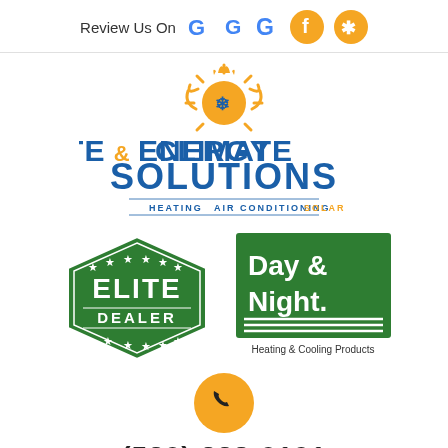Review Us On [Google] [Facebook] [Yelp]
[Figure (logo): Climate & Energy Solutions logo with sun, snowflake, and text: CLIMATE & ENERGY SOLUTIONS — HEATING AIR CONDITIONING SOLAR]
[Figure (logo): Elite Dealer badge logo in green with stars]
[Figure (logo): Day & Night Heating & Cooling Products logo in green]
[Figure (logo): Yellow phone icon circle]
(530) 338-0191